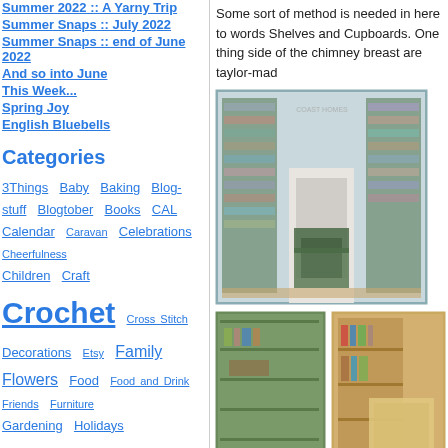Summer 2022 :: A Yarny Trip
Summer Snaps :: July 2022
Summer Snaps :: end of June 2022
And so into June
This Week...
Spring Joy
English Bluebells
Categories
3Things Baby Baking Blog-stuff Blogtober Books CAL Calendar Caravan Celebrations Cheerfulness Children Craft Crochet Cross Stitch Decorations Etsy Family Flowers Food Food and Drink Friends Furniture Gardening Holidays Home House in-the-bag Inspiration Knitting Lovely*Things magazines Making The Seasons Me Outings Painting Pets Photography Planner Quotes Renovations Sewing Shopping Socks Stitching
Some sort of method is needed in here to words Shelves and Cupboards. One thing side of the chimney breast are taylor-mad
[Figure (photo): Two interior photos: top photo shows a white living room with built-in bookshelves flanking a fireplace with a green armchair; bottom left photo shows green painted shelving unit with books and bags; bottom right photo shows a wooden cabinet/bookcase with books and decorative items.]